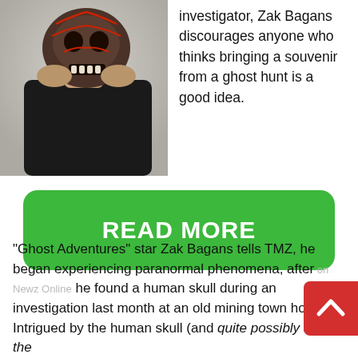[Figure (photo): Man holding a decorative skull with red accents against a light background]
investigator, Zak Bagans discourages anyone who thinks bringing a souvenir from a ghost hunt is a good idea.
[Figure (other): Green READ MORE button]
"Ghost Adventures" star Zak Bagans tells TMZ, he began experiencing paranormal phenomena, after he found a human skull during an investigation last month at an old mining town hotel. Intrigued by the human skull (and quite possibly under the